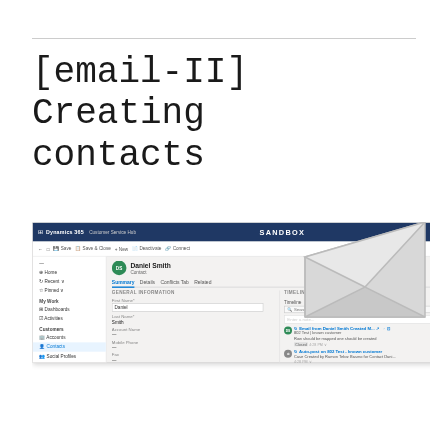[email-II] Creating contacts
[Figure (screenshot): Screenshot of Microsoft Dynamics 365 Customer Service Hub showing a Contact record for Daniel Smith with navigation panel, GENERAL INFORMATION fields (First Name: Daniel, Last Name: Smith, Account Name, Mobile Phone, Fax, Contact Method) and TIMELINE panel showing email and auto-post entries. A decorative envelope illustration overlays the top-right of the screenshot.]